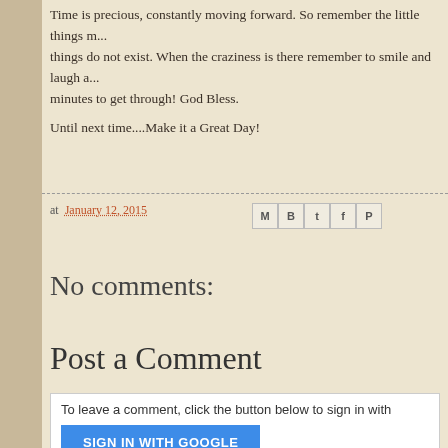Time is precious, constantly moving forward. So remember the little things m... things do not exist. When the craziness is there remember to smile and laugh a... minutes to get through! God Bless.
Until next time....Make it a Great Day!
at January 12, 2015
No comments:
Post a Comment
To leave a comment, click the button below to sign in with...
SIGN IN WITH GOOGLE